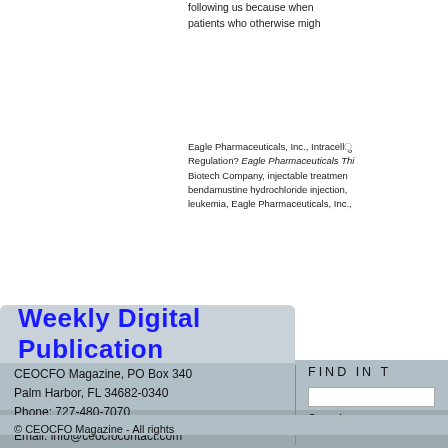following us because when patients who otherwise migh
Eagle Pharmaceuticals, Inc., Intracellular Regulation? Eagle Pharmaceuticals Thi Biotech Company, injectable treatment bendamustine hydrochloride injection, leukemia, Eagle Pharmaceuticals, Inc.,
Weekly Digital Publication
CEOCFO Magazine, PO Box 340
Palm Harbor, FL 34682-0340
Phone: 727-480-7070

Email: info@ceocfocontact.com
FIND IN
Search
© CEOCFO Magazine - All rights